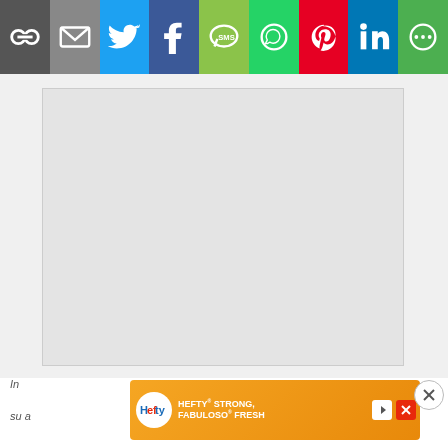[Figure (screenshot): Social media share bar with icons: link/copy, email, Twitter, Facebook, SMS, WhatsApp, Pinterest, LinkedIn, More]
[Figure (screenshot): Large light grey blank content area below the share bar]
[Figure (screenshot): Hefty brand advertisement banner: HEFTY STRONG, FABULOSO FRESH with orange background and product imagery]
In
su a